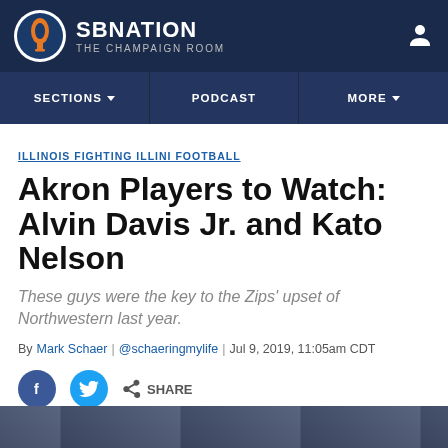SB NATION — THE CHAMPAIGN ROOM
ILLINOIS FIGHTING ILLINI FOOTBALL
Akron Players to Watch: Alvin Davis Jr. and Kato Nelson
These guys were the key to the Zips' upset of Northwestern last year.
By Mark Schaer | @schaeringmylife | Jul 9, 2019, 11:05am CDT
[Figure (screenshot): Social share buttons: Facebook, Twitter, and a generic Share button]